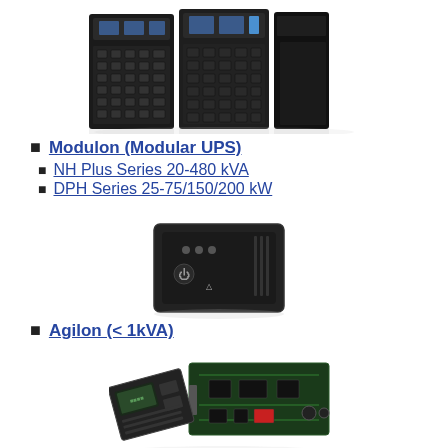[Figure (photo): Large modular UPS systems, multiple black rack tower units side by side]
Modulon (Modular UPS)
NH Plus Series 20-480 kVA
DPH Series 25-75/150/200 kW
[Figure (photo): Small black desktop UPS unit, Agilon series]
Agilon (< 1kVA)
[Figure (photo): UPS connectivity modules and circuit boards]
Connectivity